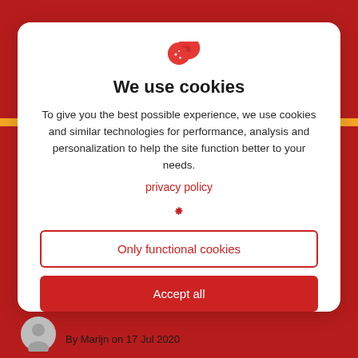[Figure (illustration): Cookie consent dialog card with red cookie icon at top, title, body text, privacy policy link, gear icon, two buttons (Only functional cookies outlined, Accept all filled red)]
We use cookies
To give you the best possible experience, we use cookies and similar technologies for performance, analysis and personalization to help the site function better to your needs.
privacy policy
Only functional cookies
Accept all
By Marijn on 17 Jul 2020